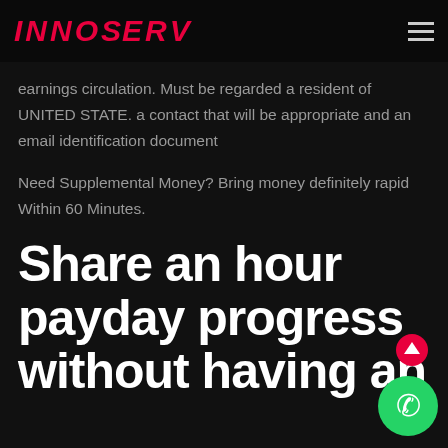INNOSERV
earnings circulation. Must be regarded a resident of UNITED STATE. a contact that will be appropriate and an email identification document
Need Supplemental Money? Bring money definitely rapid Within 60 Minutes.
Share an hour payday progress without having an